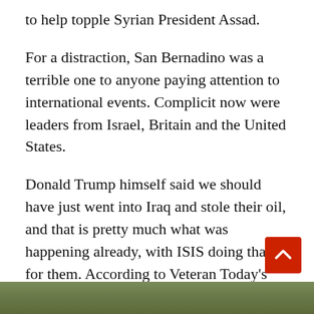to help topple Syrian President Assad.
For a distraction, San Bernadino was a terrible one to anyone paying attention to international events. Complicit now were leaders from Israel, Britain and the United States.
Donald Trump himself said we should have just went into Iraq and stole their oil, and that is pretty much what was happening already, with ISIS doing that for them. According to Veteran Today's Gordon Duff, Iraq was robbed by Turkish leader Erdogan of 1.5 trillion dollars in oil, and Syria 100 billion.